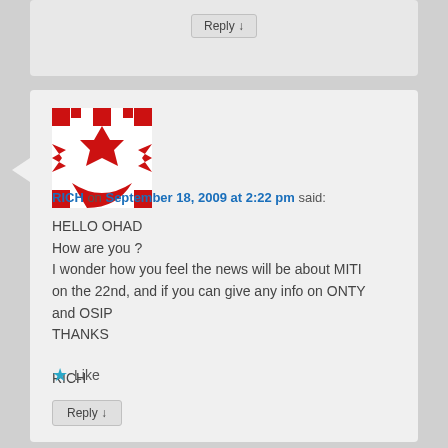Reply ↓
[Figure (illustration): Red and white geometric pattern avatar/identicon for user RICH]
RICH on September 18, 2009 at 2:22 pm said:
HELLO OHAD
How are you ?
I wonder how you feel the news will be about MITI on the 22nd, and if you can give any info on ONTY and OSIP
THANKS

RICH
★ Like
Reply ↓